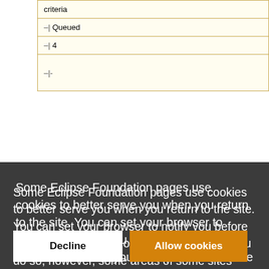| criteria |
| | Queued |
| | 4 |
| |- |
Some Eclipse Foundation pages use cookies to better serve you when you return to the site. You can set your browser to notify you before you receive a cookie or turn off cookies. If you do so, however, some areas of some sites may not function properly. To read Eclipse Foundation Privacy Policy click here.
Decline
Allow cookies
| | {{bug|222622}} |